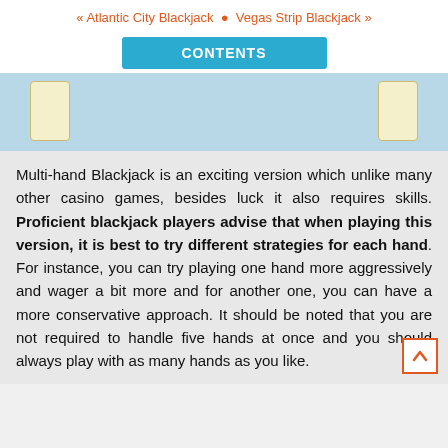« Atlantic City Blackjack  •  Vegas Strip Blackjack »
[Figure (illustration): Blue Contents button and a card table area showing two yellow playing cards against a light blue background]
Multi-hand Blackjack is an exciting version which unlike many other casino games, besides luck it also requires skills. Proficient blackjack players advise that when playing this version, it is best to try different strategies for each hand. For instance, you can try playing one hand more aggressively and wager a bit more and for another one, you can have a more conservative approach. It should be noted that you are not required to handle five hands at once and you should always play with as many hands as you like.